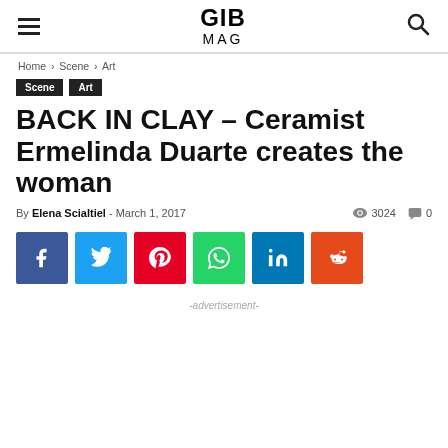GIB MAG
Home › Scene › Art
Scene
Art
BACK IN CLAY – Ceramist Ermelinda Duarte creates the woman
By Elena Scialtiel - March 1, 2017  3024  0
[Figure (infographic): Social share buttons: Facebook (f), Twitter, Pinterest, WhatsApp, LinkedIn (in), Reddit]
-advertisement-